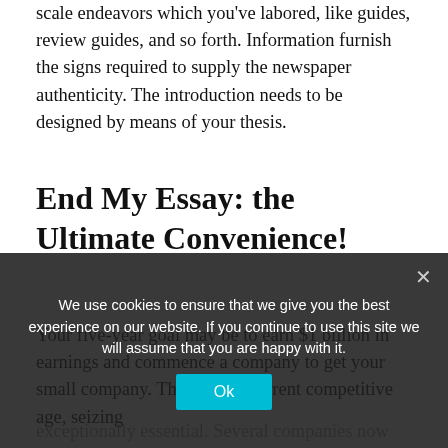scale endeavors which you've labored, like guides, review guides, and so forth. Information furnish the signs required to supply the newspaper authenticity. The introduction needs to be designed by means of your thesis.
End My Essay: the Ultimate Convenience!
Your five-year goal may be to earn $1 billion in earnings and commence a company to get your small company. Thus, in the current competitive age, seizing exceptionally essential. Several companies now work with enterprise intelligence applications that enables everyone to determine what effectiveness is in the activities each individual influences. By discovering t
We use cookies to ensure that we give you the best experience on our website. If you continue to use this site we will assume that you are happy with it.